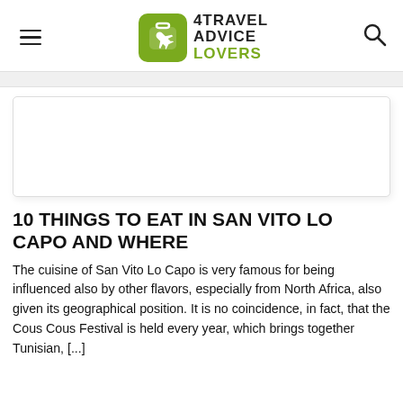4TRAVEL ADVICE LOVERS
[Figure (photo): Article thumbnail image placeholder (white box with border)]
10 THINGS TO EAT IN SAN VITO LO CAPO AND WHERE
The cuisine of San Vito Lo Capo is very famous for being influenced also by other flavors, especially from North Africa, also given its geographical position. It is no coincidence, in fact, that the Cous Cous Festival is held every year, which brings together Tunisian, [...]